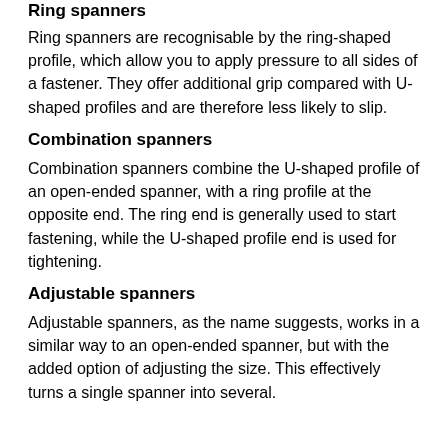Ring spanners
Ring spanners are recognisable by the ring-shaped profile, which allow you to apply pressure to all sides of a fastener. They offer additional grip compared with U-shaped profiles and are therefore less likely to slip.
Combination spanners
Combination spanners combine the U-shaped profile of an open-ended spanner, with a ring profile at the opposite end. The ring end is generally used to start fastening, while the U-shaped profile end is used for tightening.
Adjustable spanners
Adjustable spanners, as the name suggests, works in a similar way to an open-ended spanner, but with the added option of adjusting the size. This effectively turns a single spanner into several.